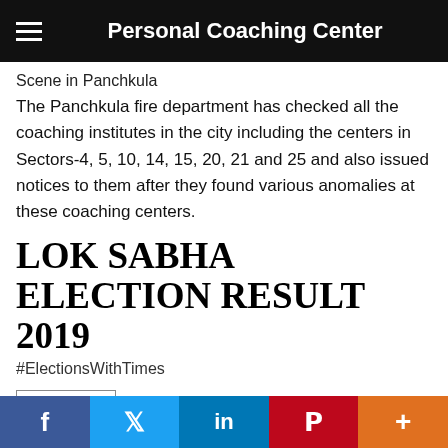Personal Coaching Center
Scene in Panchkula
The Panchkula fire department has checked all the coaching institutes in the city including the centers in Sectors-4, 5, 10, 14, 15, 20, 21 and 25 and also issued notices to them after they found various anomalies at these coaching centers.
LOK SABHA ELECTION RESULT 2019
#ElectionsWithTimes
Previous
[Figure (logo): Modi Meter logo with circular orange/gold border and text MODI METER]
Social share bar: Facebook, Twitter, LinkedIn, Pinterest, More